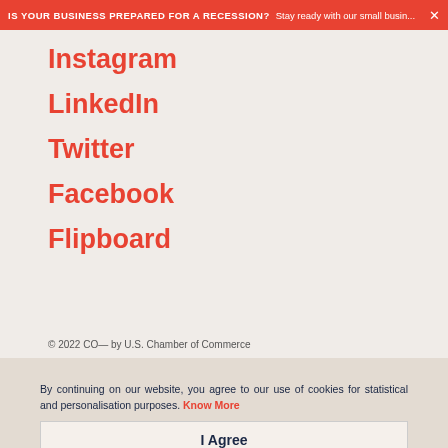IS YOUR BUSINESS PREPARED FOR A RECESSION? Stay ready with our small busin...
Instagram
LinkedIn
Twitter
Facebook
Flipboard
© 2022 CO— by U.S. Chamber of Commerce
By continuing on our website, you agree to our use of cookies for statistical and personalisation purposes. Know More
I Agree